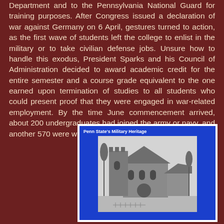Department and to the Pennsylvania National Guard for training purposes. After Congress issued a declaration of war against Germany on 6 April, gestures turned to action, as the first wave of students left the college to enlist in the military or to take civilian defense jobs. Unsure how to handle this exodus, President Sparks and his Council of Administration decided to award academic credit for the entire semester and a course grade equivalent to the one earned upon termination of studies to all students who could present proof that they were engaged in war-related employment. By the time June commencement arrived, about 200 undergraduates had joined the army or navy, and another 570 were working on farms or in defense industries.
[Figure (photo): Black and white photograph of a stone church building with a tower, labeled 'Penn State's Military Heritage']